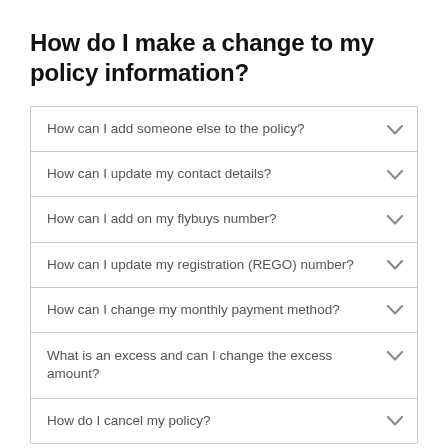How do I make a change to my policy information?
How can I add someone else to the policy?
How can I update my contact details?
How can I add on my flybuys number?
How can I update my registration (REGO) number?
How can I change my monthly payment method?
What is an excess and can I change the excess amount?
How do I cancel my policy?